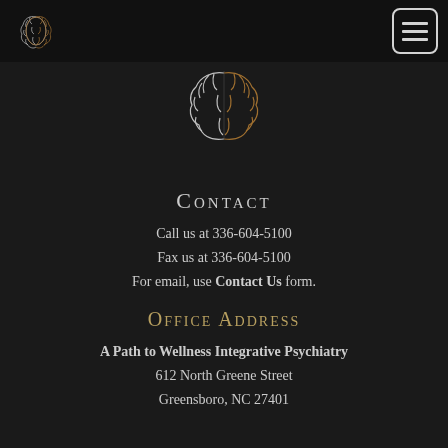A Path to Wellness Integrative Psychiatry — logo and navigation header
[Figure (logo): Brain logo image split into silver left half and gold right half, centered on dark background]
Contact
Call us at 336-604-5100
Fax us at 336-604-5100
For email, use Contact Us form.
Office Address
A Path to Wellness Integrative Psychiatry
612 North Greene Street
Greensboro, NC 27401